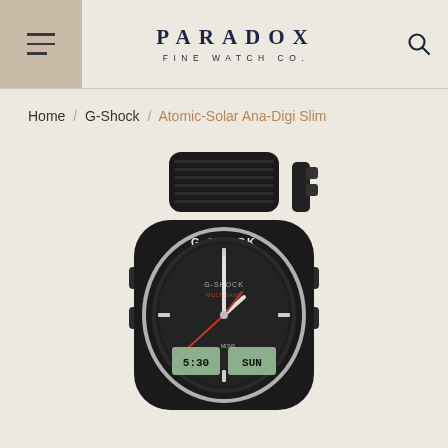PARADOX FINE WATCH CO.
Home / G-Shock / Atomic-Solar Ana-Digi Slim
[Figure (photo): G-Shock Atomic-Solar Ana-Digi Slim watch product photo showing black resin strap and case with silver bezel, analog and digital display, red second hand, and G-SHOCK branding on bezel.]